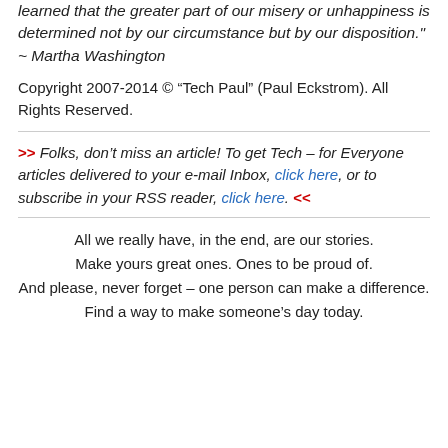learned that the greater part of our misery or unhappiness is determined not by our circumstance but by our disposition." ~ Martha Washington
Copyright 2007-2014 © “Tech Paul” (Paul Eckstrom). All Rights Reserved.
>> Folks, don’t miss an article! To get Tech – for Everyone articles delivered to your e-mail Inbox, click here, or to subscribe in your RSS reader, click here. <<
All we really have, in the end, are our stories.
Make yours great ones. Ones to be proud of.
And please, never forget – one person can make a difference.
Find a way to make someone’s day today.